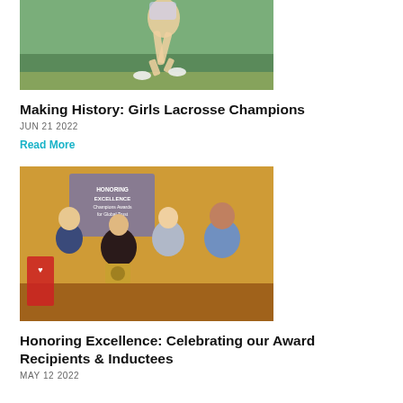[Figure (photo): Runner on a track field, partial view showing legs mid-stride]
Making History: Girls Lacrosse Champions
JUN 21 2022
Read More
[Figure (photo): Group photo of four people at an awards ceremony, with a 'Honoring Excellence Champions Awards' banner in the background]
Honoring Excellence: Celebrating our Award Recipients & Inductees
MAY 12 2022